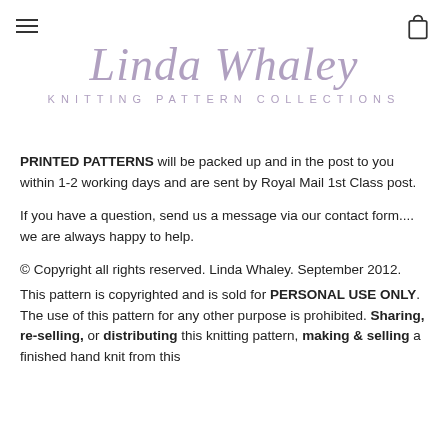[Figure (logo): Linda Whaley Knitting Pattern Collections logo with script text in mauve/purple and spaced caps subtitle]
PRINTED PATTERNS will be packed up and in the post to you within 1-2 working days and are sent by Royal Mail 1st Class post.
If you have a question, send us a message via our contact form.... we are always happy to help.
© Copyright all rights reserved. Linda Whaley. September 2012. This pattern is copyrighted and is sold for PERSONAL USE ONLY. The use of this pattern for any other purpose is prohibited. Sharing, re-selling, or distributing this knitting pattern, making & selling a finished hand knit from this